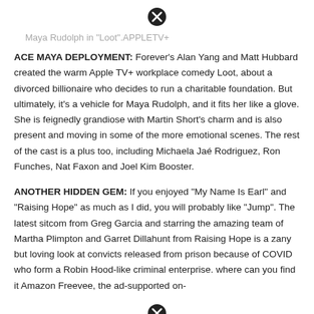[Figure (other): Close/cancel button (X icon) at top center]
Maya Rudolph in "Loot".APPLETV+
ACE MAYA DEPLOYMENT: Forever's Alan Yang and Matt Hubbard created the warm Apple TV+ workplace comedy Loot, about a divorced billionaire who decides to run a charitable foundation. But ultimately, it's a vehicle for Maya Rudolph, and it fits her like a glove. She is feignedly grandiose with Martin Short's charm and is also present and moving in some of the more emotional scenes. The rest of the cast is a plus too, including Michaela Jaé Rodriguez, Ron Funches, Nat Faxon and Joel Kim Booster.
ANOTHER HIDDEN GEM: If you enjoyed "My Name Is Earl" and "Raising Hope" as much as I did, you will probably like "Jump". The latest sitcom from Greg Garcia and starring the amazing team of Martha Plimpton and Garret Dillahunt from Raising Hope is a zany but loving look at convicts released from prison because of COVID who form a Robin Hood-like criminal enterprise. where can you find it Amazon Freevee, the ad-supported on-
[Figure (other): Close/cancel button (X icon) at bottom center]